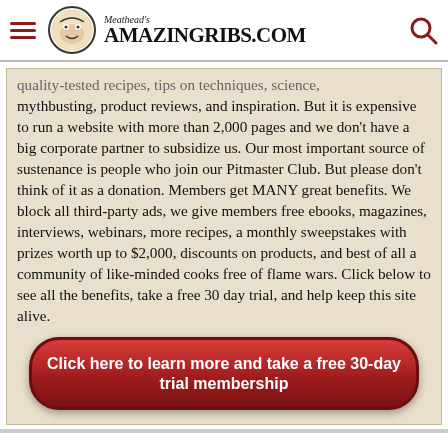Meathead's AmazingRibs.com
quality-tested recipes, tips on techniques, science, mythbusting, product reviews, and inspiration. But it is expensive to run a website with more than 2,000 pages and we don't have a big corporate partner to subsidize us. Our most important source of sustenance is people who join our Pitmaster Club. But please don't think of it as a donation. Members get MANY great benefits. We block all third-party ads, we give members free ebooks, magazines, interviews, webinars, more recipes, a monthly sweepstakes with prizes worth up to $2,000, discounts on products, and best of all a community of like-minded cooks free of flame wars. Click below to see all the benefits, take a free 30 day trial, and help keep this site alive.
Click here to learn more and take a free 30-day trial membership